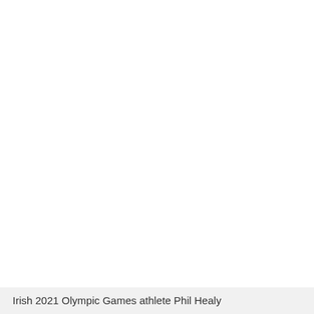[Figure (photo): A mostly white/blank page with a caption bar at the bottom referencing Irish 2021 Olympic Games athlete Phil Healy.]
Irish 2021 Olympic Games athlete Phil Healy